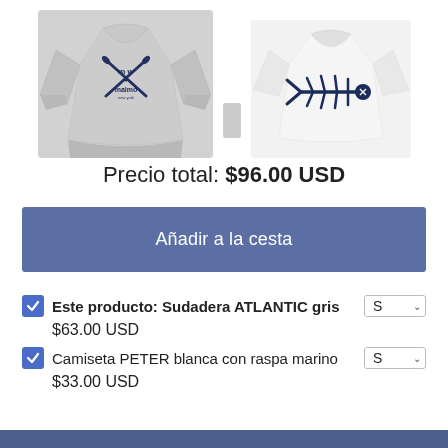[Figure (photo): Gray sweatshirt with crossed oars and MALMO logo on front]
[Figure (photo): White t-shirt with dark blue fishbone graphic on front]
Precio total: $96.00 USD
Añadir a la cesta
Este producto: Sudadera ATLANTIC gris  S  $63.00 USD
Camiseta PETER blanca con raspa marino  S  $33.00 USD